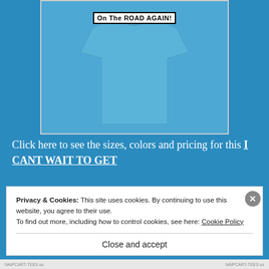[Figure (photo): Blue t-shirt with text 'On The ROAD AGAIN!' printed on it, shown from the front against a blue background]
Click here to see the sizes, colors and pricing for this I CANT WAIT TO GET
Privacy & Cookies: This site uses cookies. By continuing to use this website, you agree to their use.
To find out more, including how to control cookies, see here: Cookie Policy
Close and accept